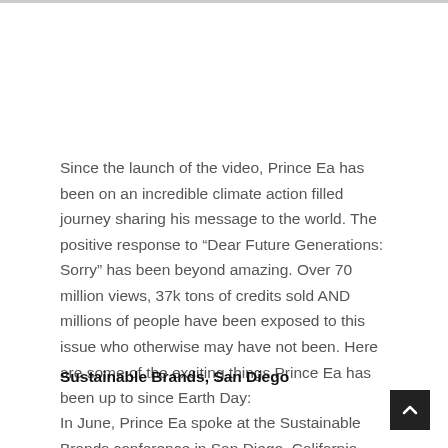Since the launch of the video, Prince Ea has been on an incredible climate action filled journey sharing his message to the world. The positive response to “Dear Future Generations: Sorry” has been beyond amazing. Over 70 million views, 37k tons of credits sold AND millions of people have been exposed to this issue who otherwise may have not been. Here are some of the exciting things Prince Ea has been up to since Earth Day:
Sustainable Brands, San Diego
In June, Prince Ea spoke at the Sustainable Brands conference in San Diego, California about the art of